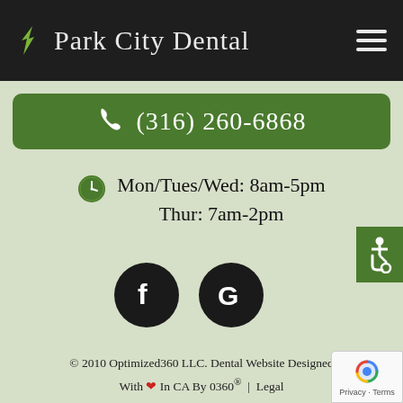Park City Dental
(316) 260-6868
Mon/Tues/Wed: 8am-5pm
Thur: 7am-2pm
[Figure (logo): Facebook and Google social media icons (black circles with white logos)]
[Figure (illustration): Wheelchair accessibility icon on green background]
© 2010 Optimized360 LLC. Dental Website Designed With ❤ In CA By 0360® | Legal